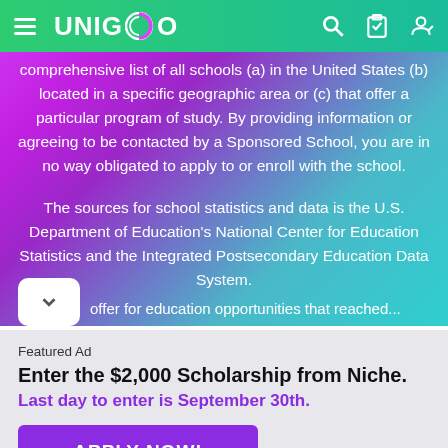UNIGO
comprehensive list of all schools (a) in the United States (b) located in a specific geographic area or (c) that offer a particular program of study. By providing information or agreeing to be contacted by a Sponsored School, you are in no way obligated to apply to or enroll with the school.
The sources for school statistics and data is the U.S. Department of Education's National Center for Education Statistics and the Integrated Postsecondary Education Data System.
Featured Ad
Enter the $2,000 Scholarship from Niche.
Last day to enter is September 30th.
APPLY NOW!